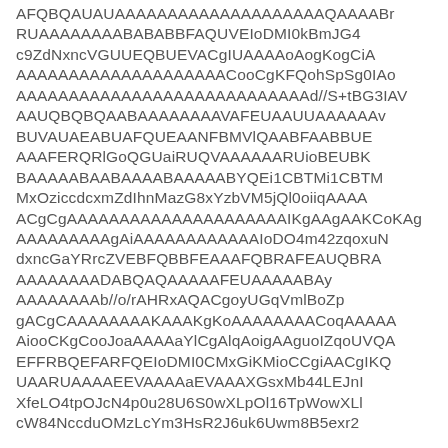AFQBQAUAUAAAAAAAAAAAAAAAAAAAAQAAAABr RUAAAAAAAABABABBFAQUVEIoDMI0kBmJG4 c9ZdNxncVGUUEQBUEVACgIUAAAAoAogKogCiA AAAAAAAAAAAAAAAAAAAACooCgKFQohSpSg0IAo AAAAAAAAAAAAAAAAAAAAAAAAAAAAd//S+tBG3IAV AAUQBQBQAABAAAAAAAAVAFEUAAUUAAAAAAv BUVAUAEABUAFQUEAANFBMVlQAABFAABBUE AAAFERQRlGoQGUaiRUQVAAAAAARUioBEUBK BAAAAABAABAAAABAAAAABYQEi1CBTMi1CBTM MxOziccdcxmZdIhnMazG8xYzbVM5jQl0oiiqAAAA ACgCgAAAAAAAAAAAAAAAAAAAAAIKgAAgAAKCoKAg AAAAAAAAAgAiAAAAAAAAAAAAIoDO4m42zqoxuN dxncGaYRrcZVEBFQBBFEAAAFQBRAFEAUQBRA AAAAAAAADABQAQAAAAAFEUAAAAABAy AAAAAAAAb//o/rAHRxAQACgoyUGqVmlBoZp gACgCAAAAAAAAKAAAKgKoAAAAAAAACoqAAAAA AiooCKgCooJoaAAAAaYlCgAlqAoigAAguoIZqoUVQA EFFRBQEFARFQEIoDMI0CMxGiKMioCCgiAACgIKQ UAARUAAAAEEVAAAAaEVAAAXGsxMb44LEJnI XfeLO4tpOJcN4p0u28U6S0wXLpOl16TpWowXLl cW84NccduOMzLcYm3HsR2J6uk6Uwm8B5exr2